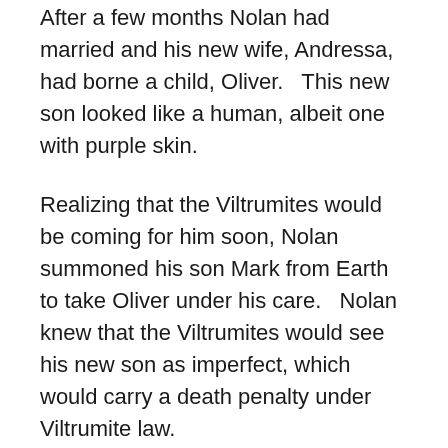After a few months Nolan had married and his new wife, Andressa, had borne a child, Oliver.   This new son looked like a human, albeit one with purple skin.
Realizing that the Viltrumites would be coming for him soon, Nolan summoned his son Mark from Earth to take Oliver under his care.   Nolan knew that the Viltrumites would see his new son as imperfect, which would carry a death penalty under Viltrumite law.
Just as had Nolan explained the situation to Mark, a trio of Viltrumites arrived.   Mark